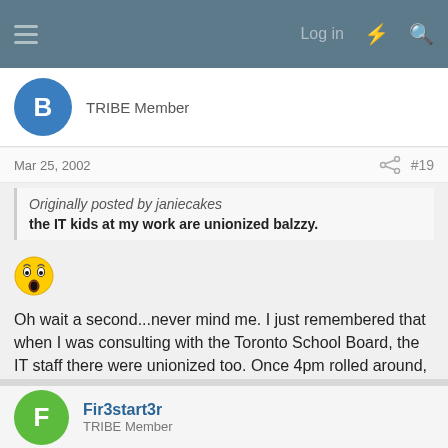Log in
TRIBE Member
Mar 25, 2002   #19
Originally posted by janiecakes
the IT kids at my work are unionized balzzy.
[Figure (illustration): Shocked/surprised face emoji]
Oh wait a second...never mind me. I just remembered that when I was consulting with the Toronto School Board, the IT staff there were unionized too. Once 4pm rolled around, the place was deserted! First time I had seen an IT department that didn't work past official hours. 😁
Fir3start3r
TRIBE Member